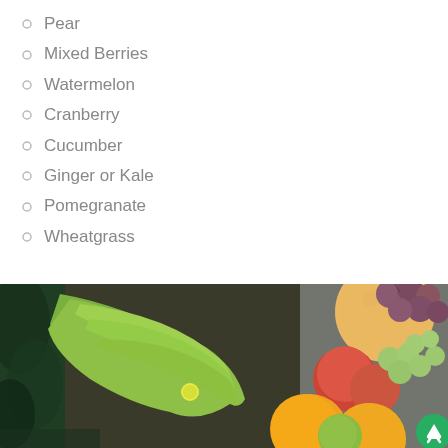Pear
Mixed Berries
Watermelon
Cranberry
Cucumber
Ginger or Kale
Pomegranate
Wheatgrass
[Figure (photo): A basket of fresh fruits including green bananas, oranges, grapes, and other fruits wrapped in plastic, with dark green leafy vegetables on the left side.]